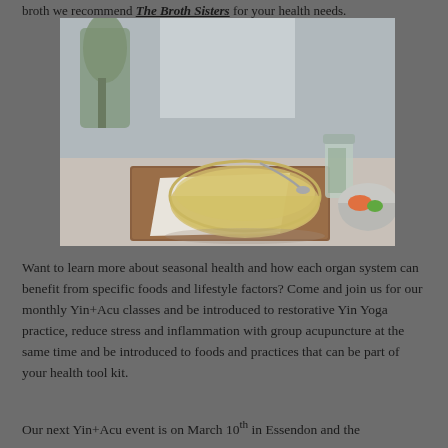broth we recommend The Broth Sisters for your health needs.
[Figure (photo): Photo of a glass bowl filled with golden broth on a rustic wooden cutting board, with a spoon, a herb plant, a glass jar, and a colander with vegetables in the background. Person in white clothing visible behind.]
Want to learn more about seasonal health and how each organ system can benefit from specific foods and lifestyle factors? Come and join us for our monthly Yin+Acu classes and be introduced to restorative Yin Yoga practice, reduce stress and inflammation with group acupuncture at the same time and be introduced to foods and practices that can be part of your health tool kit.
Our next Yin+Acu event is on March 10th in Essendon and the